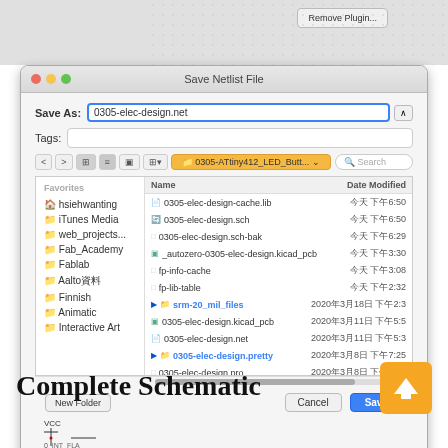[Figure (screenshot): macOS 'Save Netlist File' dialog showing a file browser with sidebar favorites (hsiehwanting, iTunes Media, web_projects..., Fab_Academy, Fablab, Aalto資料, Finnish, Animatic, Interactive Art) and a list of files including 0305-elec-design-cache.lib, 0305-elec-design.sch, 0305-elec-design.sch-bak, _autozero-0305-elec-design.kicad_pcb, fp-info-cache, fp-lib-table, srm-20_mil_files folder, 0305-elec-design.kicad_pcb, 0305-elec-design.net, 0305-elec-design.pretty folder, 0305-elec-design.pro. Save As field shows '0305-elec-design.net'. Buttons: New Folder, Cancel, Save.]
Complete Schematic
[Figure (schematic): Partial schematic snippet showing VCC power symbol and circuit connections]